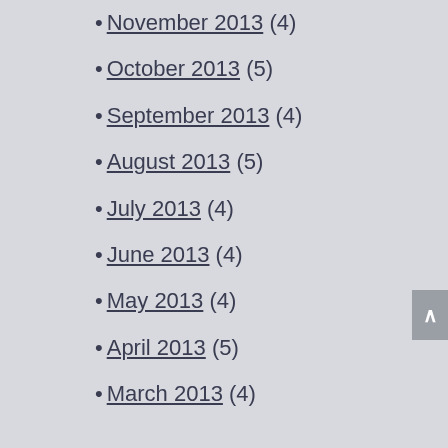• November 2013 (4)
• October 2013 (5)
• September 2013 (4)
• August 2013 (5)
• July 2013 (4)
• June 2013 (4)
• May 2013 (4)
• April 2013 (5)
• March 2013 (4)